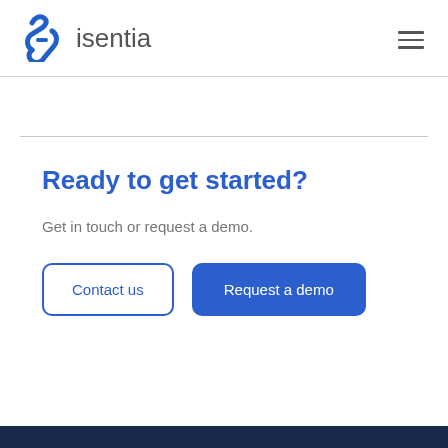[Figure (logo): Isentia logo with blue stylized chain-link icon and gray 'isentia' text]
Ready to get started?
Get in touch or request a demo.
Contact us
Request a demo